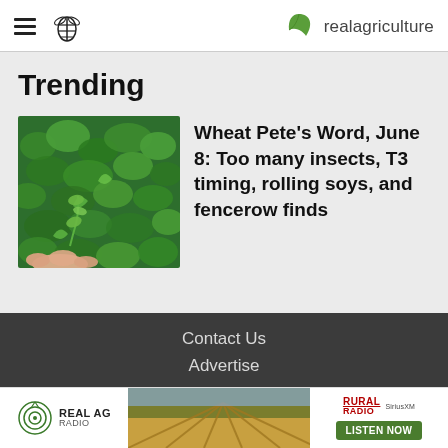realagriculture
Trending
[Figure (photo): Close-up photo of green plant leaves with a hand holding a small plant stem]
Wheat Pete's Word, June 8: Too many insects, T3 timing, rolling soys, and fencerow finds
Contact Us
Advertise
[Figure (infographic): Real AG Radio advertisement banner with Rural Radio and SiriusXM logos and a Listen Now button]